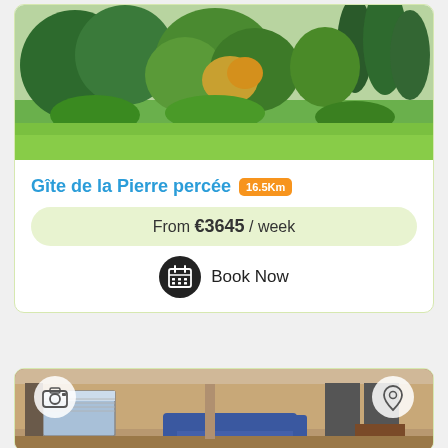[Figure (photo): Outdoor garden photo showing green lawn and trees/shrubs in background]
Gîte de la Pierre percée 16.5Km
From €3645 / week
Book Now
[Figure (photo): Interior room photo showing living area with blue sofa, window with blinds, and dark curtains. Camera and location pin overlay icons visible.]